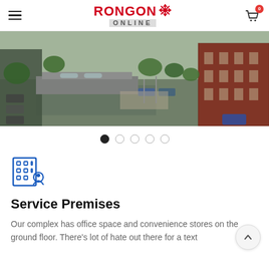RONGON ONLINE — navigation header with hamburger menu and cart icon
[Figure (photo): Aerial view of a modern building complex with parking lot, green trees, and a red brick building on the right side]
[Figure (other): Slideshow pagination dots — 5 dots, first one filled/active]
[Figure (illustration): Blue icon of a building with a person silhouette representing Service Premises]
Service Premises
Our complex has office space and convenience stores on the ground floor. There's lot of hate out there for a text